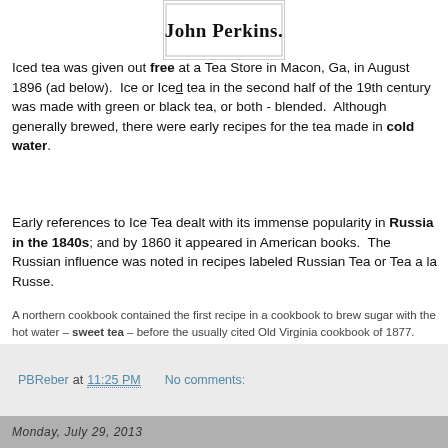[Figure (other): Logo/advertisement image showing 'John Perkins.' text in bold serif font inside a bordered box]
Iced tea was given out free at a Tea Store in Macon, Ga, in August 1896 (ad below). Ice or Iced tea in the second half of the 19th century was made with green or black tea, or both - blended. Although generally brewed, there were early recipes for the tea made in cold water.
Early references to Ice Tea dealt with its immense popularity in Russia in the 1840s; and by 1860 it appeared in American books. The Russian influence was noted in recipes labeled Russian Tea or Tea a la Russe.
A northern cookbook contained the first recipe in a cookbook to brew sugar with the hot water – sweet tea – before the usually cited Old Virginia cookbook of 1877. Another early sweet tea appeared in a medical recipe. ...
PBReber at 11:25 PM   No comments:
Monday, July 29, 2013